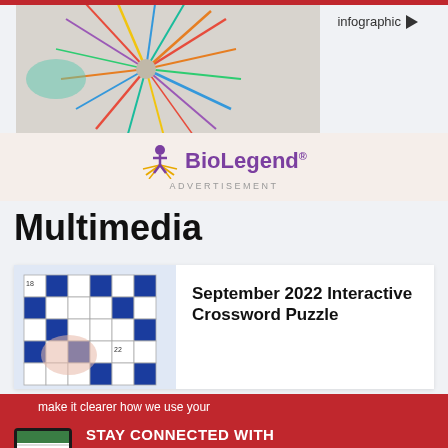[Figure (infographic): Colorful starburst/radial infographic image with colored spikes on a dark background, with 'infographic' label and arrow in top-right]
[Figure (logo): BioLegend logo with sun/figure icon in yellow and purple text, followed by ADVERTISEMENT text]
Multimedia
[Figure (photo): Crossword puzzle image showing a blue and white crossword grid with numbers 18 and 22 visible]
September 2022 Interactive Crossword Puzzle
make it clearer how we use your
STAY CONNECTED WITH The Scientist